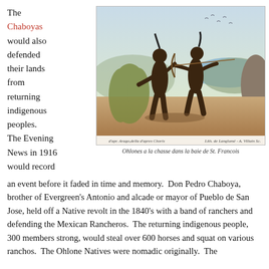The Chaboyas would also defended their lands from returning indigenous peoples. The Evening News in 1916 would record
[Figure (illustration): Historical illustration of two Native American figures with bows and arrows in a landscape setting near a bay. Caption reads: Ohlones a la chasse dans la baie de St. Francois]
Ohlones a la chasse dans la baie de St. Francois
an event before it faded in time and memory. Don Pedro Chaboya, brother of Evergreen's Antonio and alcade or mayor of Pueblo de San Jose, held off a Native revolt in the 1840's with a band of ranchers and defending the Mexican Rancheros. The returning indigenous people, 300 members strong, would steal over 600 horses and squat on various ranchos. The Ohlone Natives were nomadic originally. The